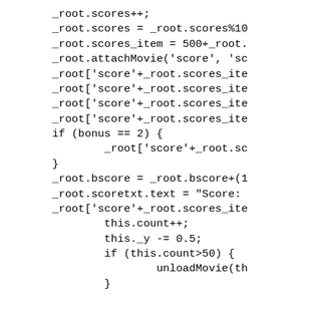_root.scores++;
_root.scores = _root.scores%10
_root.scores_item = 500+_root.
_root.attachMovie('score', 'sc
_root['score'+_root.scores_ite
_root['score'+_root.scores_ite
_root['score'+_root.scores_ite
_root['score'+_root.scores_ite
if (bonus == 2) {
        _root['score'+_root.sc
}
_root.bscore = _root.bscore+(1
_root.scoretxt.text = "Score:
_root['score'+_root.scores_ite
        this.count++;
        this._y -= 0.5;
        if (this.count>50) {
                unloadMovie(th
        }